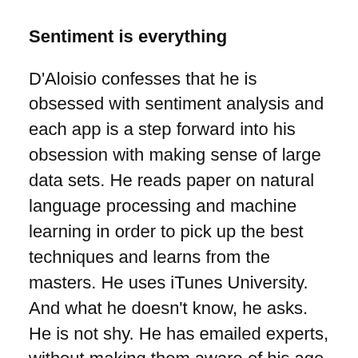Sentiment is everything
D'Aloisio confesses that he is obsessed with sentiment analysis and each app is a step forward into his obsession with making sense of large data sets. He reads paper on natural language processing and machine learning in order to pick up the best techniques and learns from the masters. He uses iTunes University. And what he doesn't know, he asks. He is not shy. He has emailed experts, without making them aware of his age or background.
The success of Trimit didn't go unnoticed. A few press mentions caught the attention of Solina Chau, a key investor with Horizons, the private equity investment vehicle of of Li Ka-Shing, the Chinese billionaire and owner of the 3 Group. Their previous investments include